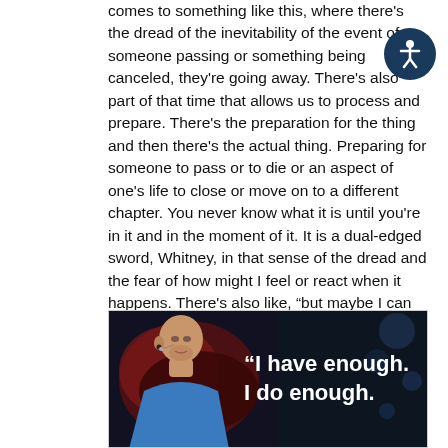comes to something like this, where there's the dread of the inevitability of the event of someone passing or something being canceled, they're going away. There's also part of that time that allows us to process and prepare. There's the preparation for the thing and then there's the actual thing. Preparing for someone to pass or to die or an aspect of one's life to close or move on to a different chapter. You never know what it is until you're in it and in the moment of it. It is a dual-edged sword, Whitney, in that sense of the dread and the fear of how might I feel or react when it happens. There's also like, “but maybe I can bolster myself emotionally or make plans.” It's both of those things wrapped into one for me.
[Figure (photo): A man speaking at what appears to be a TED talk or conference, shown from the shoulders up against a dark background with red lighting. White bold text overlaid reads: “I have enough. I do enough."]